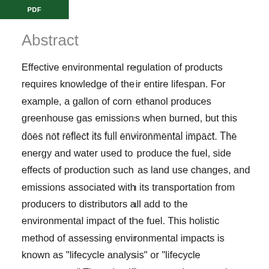PDF
Abstract
Effective environmental regulation of products requires knowledge of their entire lifespan. For example, a gallon of corn ethanol produces greenhouse gas emissions when burned, but this does not reflect its full environmental impact. The energy and water used to produce the fuel, side effects of production such as land use changes, and emissions associated with its transportation from producers to distributors all add to the environmental impact of the fuel. This holistic method of assessing environmental impacts is known as "lifecycle analysis" or "lifecycle assessment." The scientific community recognizes lifecycle analysis as providing the touchstone for effective environmental regulation. Our research...